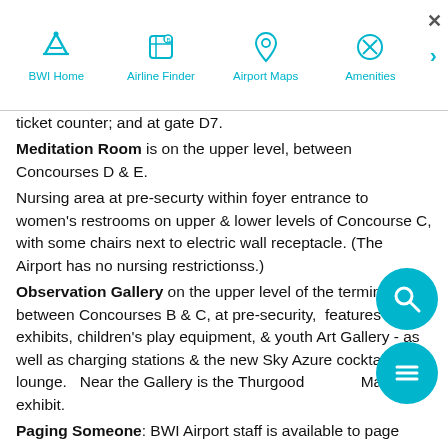BWI Home | Airline Finder | Airport Maps | Amenities
ticket counter; and at gate D7.
Meditation Room is on the upper level, between Concourses D & E.
Nursing area at pre-securty within foyer entrance to women's restrooms on upper & lower levels of Concourse C, with some chairs next to electric wall receptacle. (The Airport has no nursing restrictionss.)
Observation Gallery on the upper level of the terminal, between Concourses B & C, at pre-security, features aiation exhibits, children's play equipment, & youth Art Gallery - as well as charging stations & the new Sky Azure cocktail lounge.   Near the Gallery is the Thurgood Marshall exhibit.
Paging Someone: BWI Airport staff is available to page someone for you whether you are in the terminal or calling from another location. If you are in the terminal